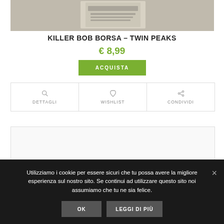[Figure (photo): Product image of Killer Bob Borsa – Twin Peaks merchandise bag]
KILLER BOB BORSA – TWIN PEAKS
€ 8,99
ACQUISTA
DETTAGLI
WISHLIST
CONDIVIDI
Utilizziamo i cookie per essere sicuri che tu possa avere la migliore esperienza sul nostro sito. Se continui ad utilizzare questo sito noi assumiamo che tu ne sia felice.
OK
LEGGI DI PIÙ